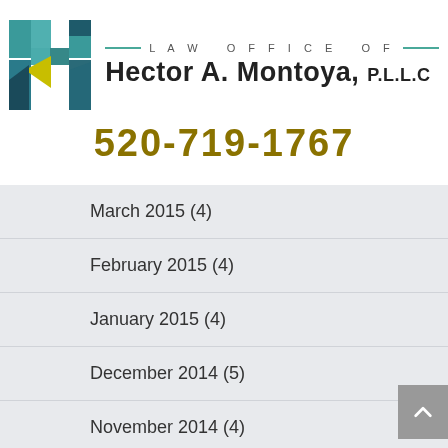[Figure (logo): Law Office of Hector A. Montoya P.L.L.C logo with stylized H in teal and yellow geometric shapes]
March 2015 (4)
February 2015 (4)
January 2015 (4)
December 2014 (5)
November 2014 (4)